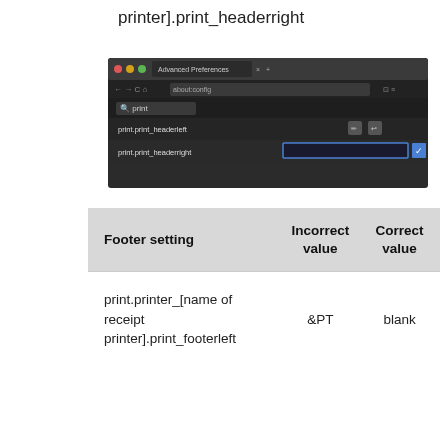printer].print_headerright
[Figure (screenshot): Firefox Advanced Preferences browser screenshot showing about:config page with search for 'print', listing print.print_headerleft and print.print_headerright entries with an empty text field for the headerright value.]
| Footer setting | Incorrect value | Correct value |
| --- | --- | --- |
| print.printer_[name of receipt printer].print_footerleft | &PT | blank |